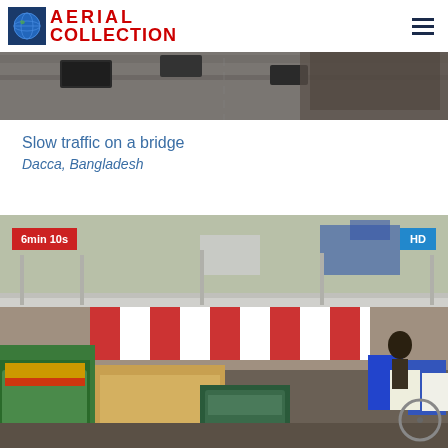AERIAL COLLECTION
[Figure (photo): Aerial view of slow traffic on a bridge, cars and vehicles visible from above, grey tones]
Slow traffic on a bridge
Dacca, Bangladesh
[Figure (photo): Ground-level view of slow traffic on a bridge in Dacca, Bangladesh: colorful auto-rickshaws, cycle rickshaws with cargo, people, red-and-white striped barriers, blue barrels, white buckets. Badge: 6min 10s (red). Badge: HD (blue).]